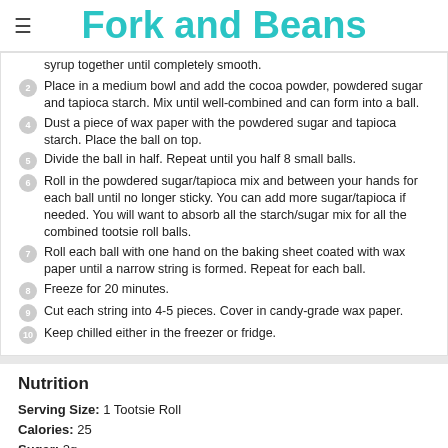Fork and Beans
syrup together until completely smooth.
Place in a medium bowl and add the cocoa powder, powdered sugar and tapioca starch. Mix until well-combined and can form into a ball.
Dust a piece of wax paper with the powdered sugar and tapioca starch. Place the ball on top.
Divide the ball in half. Repeat until you half 8 small balls.
Roll in the powdered sugar/tapioca mix and between your hands for each ball until no longer sticky. You can add more sugar/tapioca if needed. You will want to absorb all the starch/sugar mix for all the combined tootsie roll balls.
Roll each ball with one hand on the baking sheet coated with wax paper until a narrow string is formed. Repeat for each ball.
Freeze for 20 minutes.
Cut each string into 4-5 pieces. Cover in candy-grade wax paper.
Keep chilled either in the freezer or fridge.
Nutrition
Serving Size: 1 Tootsie Roll
Calories: 25
Sugar: 2g
Sodium: 0mg
Fat: 1.3g